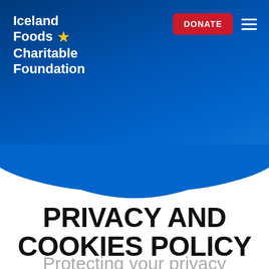[Figure (logo): Iceland Foods Charitable Foundation logo with gold star, white text on dark blue background]
PRIVACY AND COOKIES POLICY
Protecting your privacy